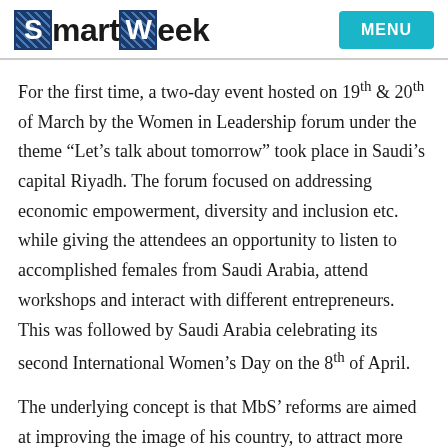SmartWeek | MENU
For the first time, a two-day event hosted on 19th & 20th of March by the Women in Leadership forum under the theme “Let’s talk about tomorrow” took place in Saudi’s capital Riyadh. The forum focused on addressing economic empowerment, diversity and inclusion etc. while giving the attendees an opportunity to listen to accomplished females from Saudi Arabia, attend workshops and interact with different entrepreneurs. This was followed by Saudi Arabia celebrating its second International Women’s Day on the 8th of April.
The underlying concept is that MbS’ reforms are aimed at improving the image of his country, to attract more foreign investors. Increasing the presence of women in the workforce will only help boost the economy. Whether this